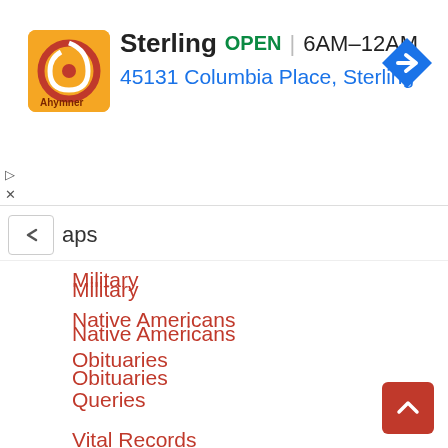[Figure (screenshot): Advertisement banner showing a restaurant logo, name 'Sterling', status 'OPEN', hours '6AM-12AM', address '45131 Columbia Place, Sterling', and a navigation arrow icon]
Military
Native Americans
Obituaries
Queries
Vital Records
Wills
Other Sites